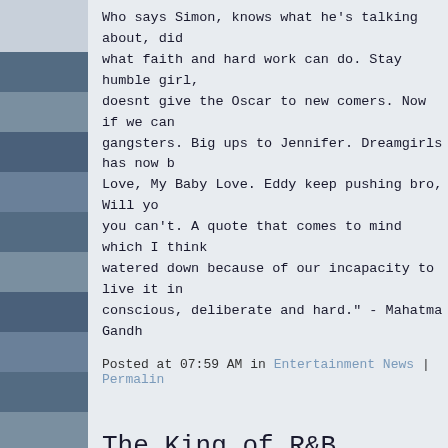Who says Simon, knows what he's talking about, did what faith and hard work can do. Stay humble girl, doesnt give the Oscar to new comers. Now if we can gangsters. Big ups to Jennifer. Dreamgirls has now b Love, My Baby Love. Eddy keep pushing bro, Will yo you can't. A quote that comes to mind which I think watered down because of our incapacity to live it in conscious, deliberate and hard." - Mahatma Gandh
Posted at 07:59 AM in Entertainment News | Permalin
The King of R&B Arrested
The King of R&B Arrested, Ah-Damn-Gen
By Fresh
The King of R&B Arrested, Ah-Damn-Gen
Bobby Brown was arrested on Sunday outside of his court and pay child support fines."He went very coo